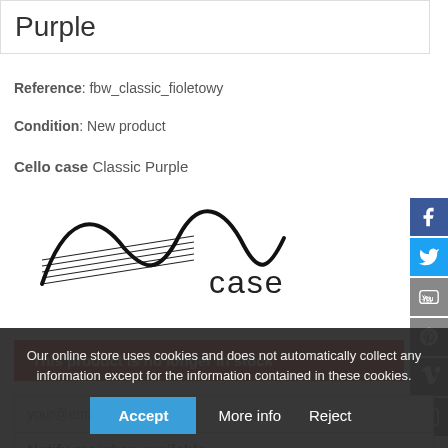Purple
Reference: fbw_classic_fioletowy
Condition: New product
Cello case Classic Purple
[Figure (logo): M-case brand logo in black on white background]
This product is no longer in stock
your@email.com
Notify me when available
Our online store uses cookies and does not automatically collect any information except for the information contained in these cookies.